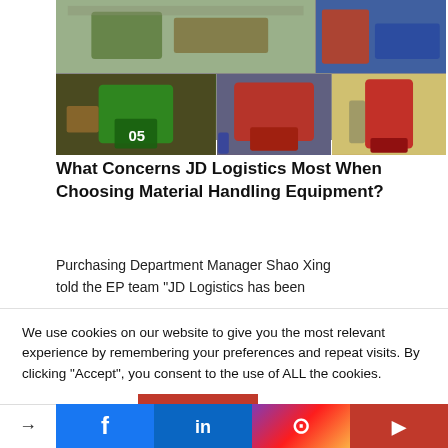[Figure (photo): Photo collage of warehouse forklifts and material handling equipment. Top row: wide shot of warehouse interior with forklifts. Bottom row left: green forklift (number 05) in warehouse. Bottom row center: red forklift in warehouse. Bottom row right: red pallet truck.]
What Concerns JD Logistics Most When Choosing Material Handling Equipment?
Purchasing Department Manager Shao Xing told the EP team “JD Logistics has been
We use cookies on our website to give you the most relevant experience by remembering your preferences and repeat visits. By clicking “Accept”, you consent to the use of ALL the cookies.
Cookie settings  ACCEPT